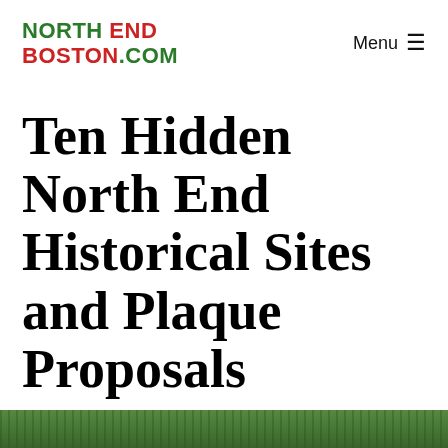NORTH END BOSTON.COM   Menu ☰
Ten Hidden North End Historical Sites and Plaque Proposals
[Figure (photo): Green outdoor scene, partial view of foliage or park area at the bottom of the page]